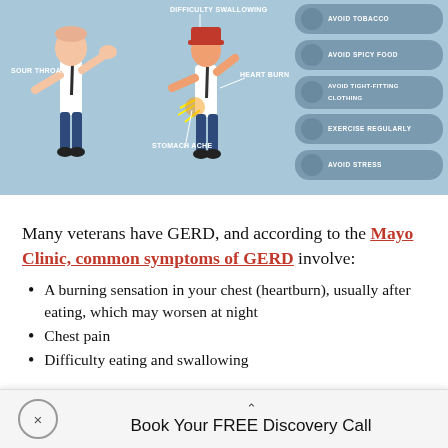[Figure (infographic): GERD symptoms infographic showing two illustrated figures with labeled symptoms (sour throat, difficulty swallowing, heart burn, stomach ache) and a right panel with recommended actions: Avoid Tobacco, Avoid Spicy Food, Avoid Tight-Fitting Clothing, Exercise Regularly, Avoid Stress.]
Many veterans have GERD, and according to the Mayo Clinic, common symptoms of GERD involve:
A burning sensation in your chest (heartburn), usually after eating, which may worsen at night
Chest pain
Difficulty eating and swallowing
Book Your FREE Discovery Call